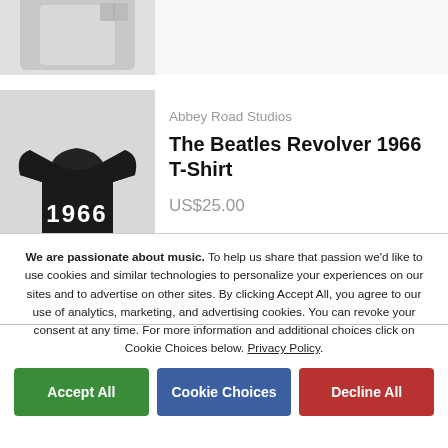[Figure (photo): Partial cropped product image at top of page, white t-shirt on light gray background]
Abbey Road Studios
The Beatles Revolver 1966 T-Shirt
US$25.00
[Figure (photo): Black t-shirt with 1966 text graphic, on light gray background]
Abbey Road Studios
The Beatles Revolver 1966 T-
[Figure (photo): Partially visible black t-shirt, cropped at bottom]
We are passionate about music. To help us share that passion we'd like to use cookies and similar technologies to personalize your experiences on our sites and to advertise on other sites. By clicking Accept All, you agree to our use of analytics, marketing, and advertising cookies. You can revoke your consent at any time. For more information and additional choices click on Cookie Choices below. Privacy Policy.